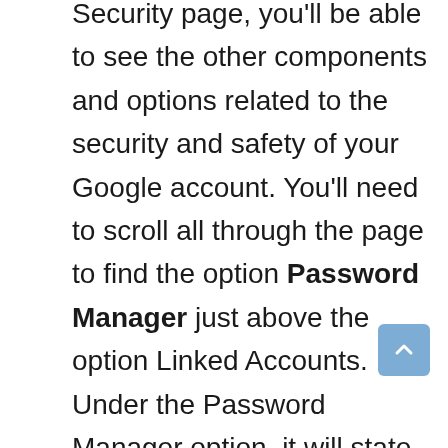Security page, you'll be able to see the other components and options related to the security and safety of your Google account. You'll need to scroll all through the page to find the option Password Manager just above the option Linked Accounts. Under the Password Manager option, it will state the number of passwords that are saved inside the Password Manager section.

You are required to click on the Password Manager option and you'll